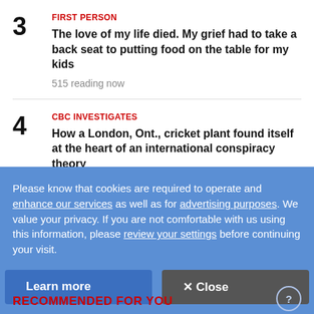3 FIRST PERSON — The love of my life died. My grief had to take a back seat to putting food on the table for my kids — 515 reading now
4 CBC INVESTIGATES — How a London, Ont., cricket plant found itself at the heart of an international conspiracy theory — 489 reading now
5 UCP leadership candidates subject to death threats during campaign — 341 reading now
Please know that cookies are required to operate and enhance our services as well as for advertising purposes. We value your privacy. If you are not comfortable with us using this information, please review your settings before continuing your visit.
Learn more
✕ Close
RECOMMENDED FOR YOU